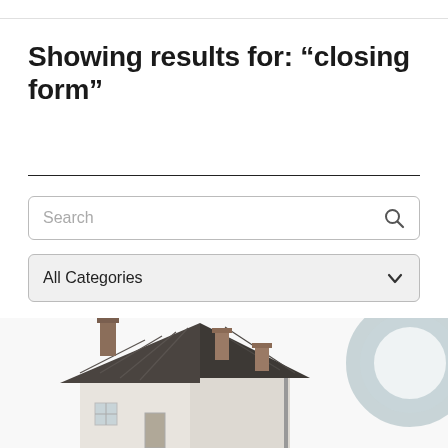Showing results for: “closing form”
[Figure (screenshot): Search box with placeholder text 'Search' and magnifying glass icon on the right]
[Figure (screenshot): Dropdown selector showing 'All Categories' with a chevron/arrow on the right]
[Figure (photo): Photo of a miniature model house with dark roof and chimneys, with a magnifying glass partially visible on the right side]